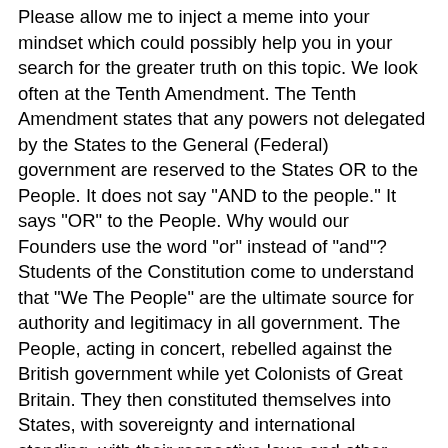Please allow me to inject a meme into your mindset which could possibly help you in your search for the greater truth on this topic. We look often at the Tenth Amendment. The Tenth Amendment states that any powers not delegated by the States to the General (Federal) government are reserved to the States OR to the People. It does not say "AND to the people." It says "OR" to the People. Why would our Founders use the word "or" instead of "and"? Students of the Constitution come to understand that "We The People" are the ultimate source for authority and legitimacy in all government. The People, acting in concert, rebelled against the British government while yet Colonists of Great Britain. They then constituted themselves into States, with sovereignty and international standing, with their respective laws and other infrastructural components common to any nation-state. As independent States, they convened to create a compact called the Articles of Confederation, which elected U.S. Presidents during the period before our Constitution was created and ratified. During that time each State was a republic, was autonomous, and retained autonomous